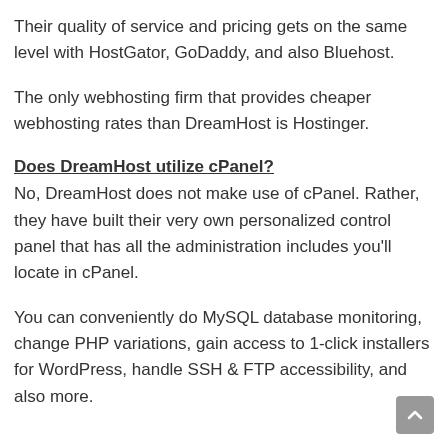Their quality of service and pricing gets on the same level with HostGator, GoDaddy, and also Bluehost.
The only webhosting firm that provides cheaper webhosting rates than DreamHost is Hostinger.
Does DreamHost utilize cPanel?
No, DreamHost does not make use of cPanel. Rather, they have built their very own personalized control panel that has all the administration includes you'll locate in cPanel.
You can conveniently do MySQL database monitoring, change PHP variations, gain access to 1-click installers for WordPress, handle SSH & FTP accessibility, and also more.